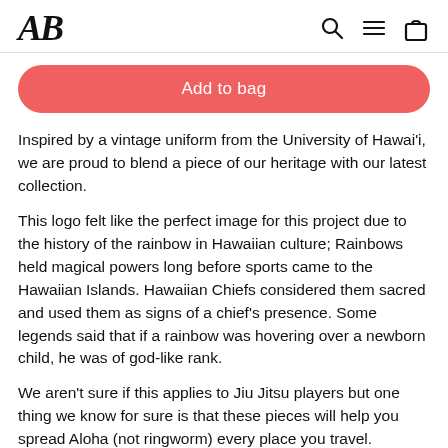AB [logo] with search, menu, and bag icons
Add to bag
Inspired by a vintage uniform from the University of Hawai'i, we are proud to blend a piece of our heritage with our latest collection.
This logo felt like the perfect image for this project due to the history of the rainbow in Hawaiian culture; Rainbows held magical powers long before sports came to the Hawaiian Islands. Hawaiian Chiefs considered them sacred and used them as signs of a chief's presence. Some legends said that if a rainbow was hovering over a newborn child, he was of god-like rank.
We aren't sure if this applies to Jiu Jitsu players but one thing we know for sure is that these pieces will help you spread Aloha (not ringworm) every place you travel.
Each pair of shorts is crafted from an ultra-stretchy + durable Polyester/Lycra™ blend. We've removed the velcro panel in front to avoid scratchiness and added in an ultra-soft, plush inner waistband which adds comfort and allows the shorts to stay secure without being